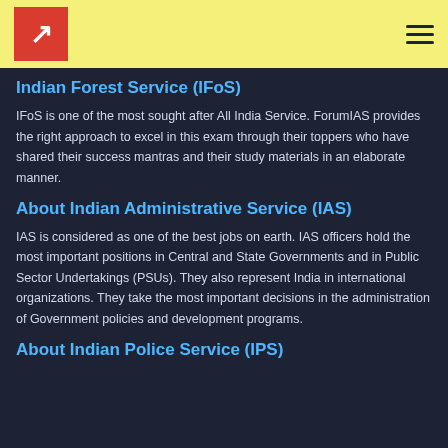ForumIAS logo and navigation
Indian Forest Service (IFoS)
IFoS is one of the most sought after All India Service. ForumIAS provides the right approach to excel in this exam through their toppers who have shared their success mantras and their study materials in an elaborate manner.
About Indian Administrative Service (IAS)
IAS is considered as one of the best jobs on earth. IAS officers hold the most important positions in Central and State Governments and in Public Sector Undertakings (PSUs). They also represent India in international organizations. They take the most important decisions in the administration of Government policies and development programs.
About Indian Police Service (IPS)